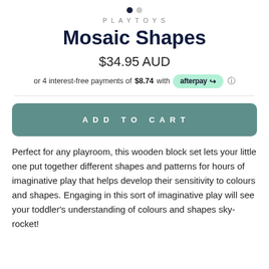[Figure (other): Carousel pagination dots — one filled navy dot and one grey dot]
PLAYTOYS
Mosaic Shapes
$34.95 AUD
or 4 interest-free payments of $8.74 with afterpay
ADD TO CART
Perfect for any playroom, this wooden block set lets your little one put together different shapes and patterns for hours of imaginative play that helps develop their sensitivity to colours and shapes. Engaging in this sort of imaginative play will see your toddler's understanding of colours and shapes sky-rocket!